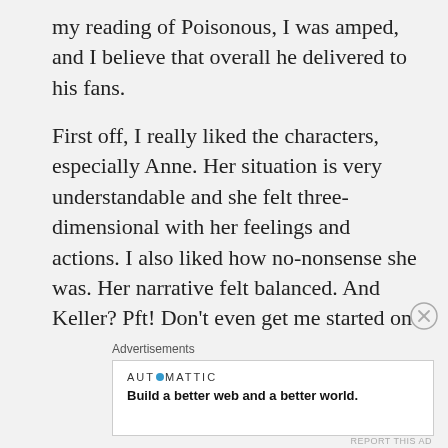my reading of Poisonous, I was amped, and I believe that overall he delivered to his fans.
First off, I really liked the characters, especially Anne. Her situation is very understandable and she felt three-dimensional with her feelings and actions. I also liked how no-nonsense she was. Her narrative felt balanced. And Keller? Pft! Don't even get me started on that piece of work. He makes a great antagonist in this novel,
Advertisements
[Figure (other): Automattic advertisement banner: logo reads 'AUTOMATTIC' with a blue dot replacing the 'O', tagline reads 'Build a better web and a better world.']